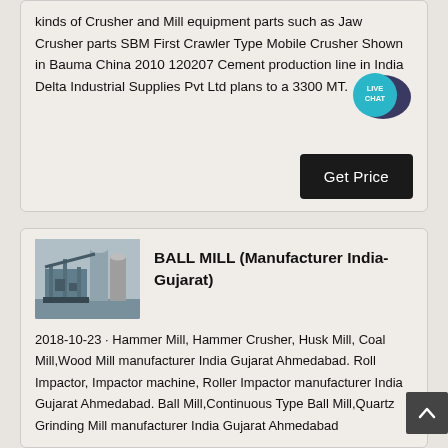kinds of Crusher and Mill equipment parts such as Jaw Crusher parts SBM First Crawler Type Mobile Crusher Shown in Bauma China 2010 120207 Cement production line in India Delta Industrial Supplies Pvt Ltd plans to a 3300 MT.
[Figure (other): Live Chat bubble icon (teal circular badge with LIVE CHAT text and speech bubble)]
Get Price
[Figure (photo): Industrial ball mill equipment photo - grey industrial machinery with silos/tanks]
BALL MILL (Manufacturer India-Gujarat)
2018-10-23 · Hammer Mill, Hammer Crusher, Husk Mill, Coal Mill,Wood Mill manufacturer India Gujarat Ahmedabad. Roll Impactor, Impactor machine, Roller Impactor manufacturer India Gujarat Ahmedabad. Ball Mill,Continuous Type Ball Mill,Quartz Grinding Mill manufacturer India Gujarat Ahmedabad